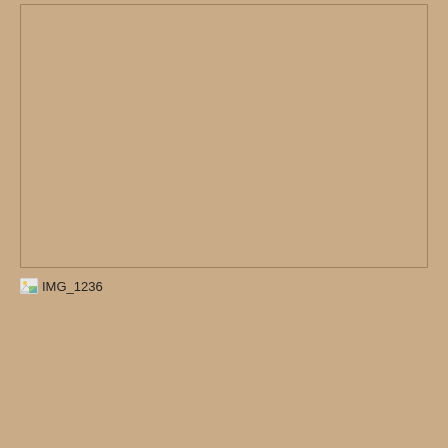[Figure (photo): Large image placeholder with tan/beige background, bordered rectangle, image not loaded]
IMG_1236
[Figure (photo): Second image area with tan/beige background, image not loaded]